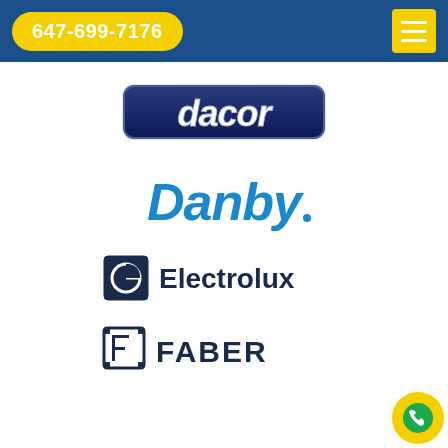647-699-7176
[Figure (logo): Dacor brand logo - stylized italic text in dark blue/navy with metallic effect]
[Figure (logo): Danby brand logo - bold blue italic text]
[Figure (logo): Electrolux brand logo - dark navy square icon with circle/E symbol and Electrolux text in dark navy]
[Figure (logo): Faber brand logo - dark square icon with stylized F and FABER text in dark navy]